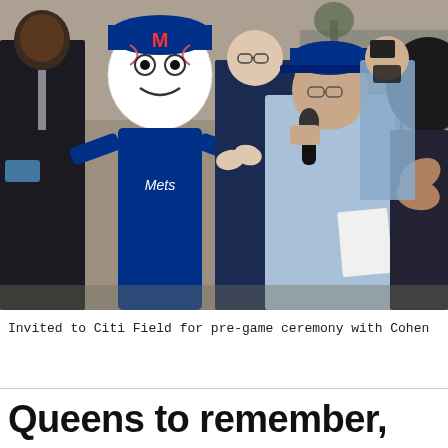[Figure (photo): Outdoor group photo at Citi Field. A man in a blue Mets cap and light blue shirt speaks into a microphone while holding papers. Behind him stands a man in a dark suit on the left, the Mets mascot Mr. Met, and a man in a navy blazer applauding. A woman in the foreground on the right is partially visible. Others are visible in the background.]
Invited to Citi Field for pre-game ceremony with Cohen
Queens to remember, mourn